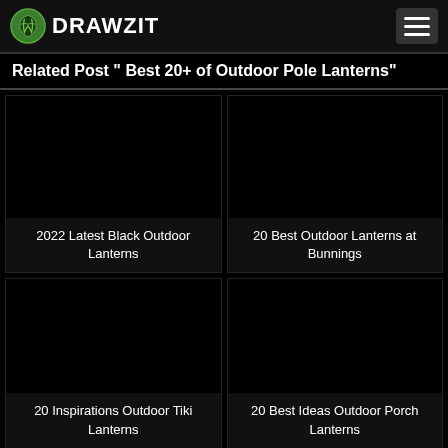DRAWZIT
Related Post " Best 20+ of Outdoor Pole Lanterns"
[Figure (screenshot): Black image placeholder for post card]
2022 Latest Black Outdoor Lanterns
[Figure (screenshot): Black image placeholder for post card]
20 Best Outdoor Lanterns at Bunnings
[Figure (screenshot): Black image placeholder for post card]
20 Inspirations Outdoor Tiki Lanterns
[Figure (screenshot): Black image placeholder for post card]
20 Best Ideas Outdoor Porch Lanterns